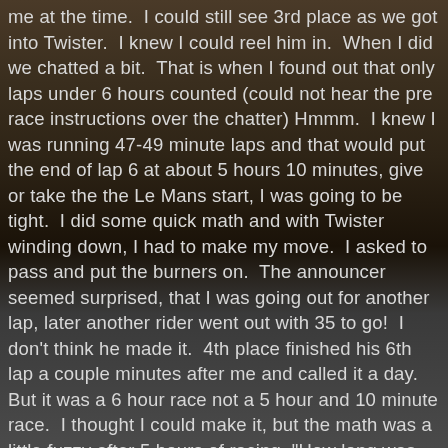me at the time.  I could still see 3rd place as we got into Twister.  I knew I could reel him in.  When I did we chatted a bit.  That is when I found out that only laps under 6 hours counted (could not hear the pre race instructions over the chatter) Hmmm.  I knew I was running 47-49 minute laps and that would put the end of lap 6 at about 5 hours 10 minutes, give or take the the Le Mans start, I was going to be tight.  I did some quick math and with Twister winding down, I had to make my move.  I asked to pass and put the burners on.  The announcer seemed surprised, that I was going out for another lap, later another rider went out with 35 to go!  I don't think he made it.  4th place finished his 6th lap a couple minutes after me and called it a day.  But it was a 6 hour race not a 5 hour and 10 minute race.  I thought I could make it, but the math was a little fuzzy after 5 hours of racing, "How long was that Le Mans start?".  I looked at the actual time of day and it seemed like my chances were fleeting.  A guy comes flying by, on a Single Speed.  "It was not that 4th place guy, no couldn't be, he was too fast.  Must be a fresh team guy or elite guy running his back up bike, like I saw earlier, was his bike orange, no it was black I think", I thought to myself.  Back to my math. With my legs the racing to go and that start, started off T